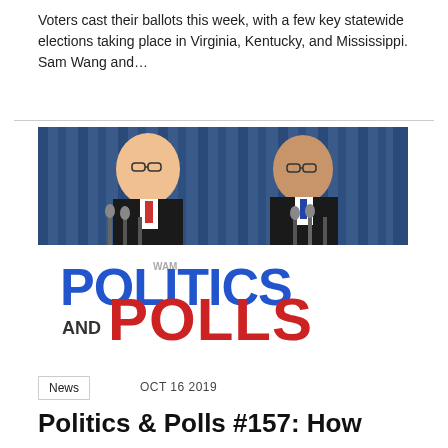Voters cast their ballots this week, with a few key statewide elections taking place in Virginia, Kentucky, and Mississippi. Sam Wang and…
[Figure (photo): Politics and Polls podcast cover image showing two men in suits at podiums with microphones in front of blue curtains. Bold text reads 'POLITICS AND POLLS' with POLITICS in blue and POLLS in red.]
News
OCT 16 2019
Politics & Polls #157: How